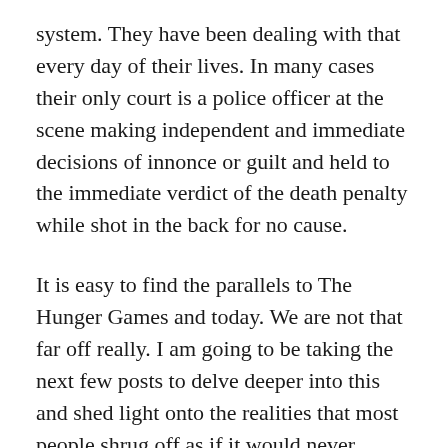system. They have been dealing with that every day of their lives. In many cases their only court is a police officer at the scene making independent and immediate decisions of innonce or guilt and held to the immediate verdict of the death penalty while shot in the back for no cause.
It is easy to find the parallels to The Hunger Games and today. We are not that far off really. I am going to be taking the next few posts to delve deeper into this and shed light onto the realities that most people shrug off as if it would never pertain or happen to them so who cares. That is not how a society thrives. We are as strong only as our weakest links.
We have reached a point of which caring is a necessity. This cannot get kicked down the road for the next generation. We are at the tipping point for us to make